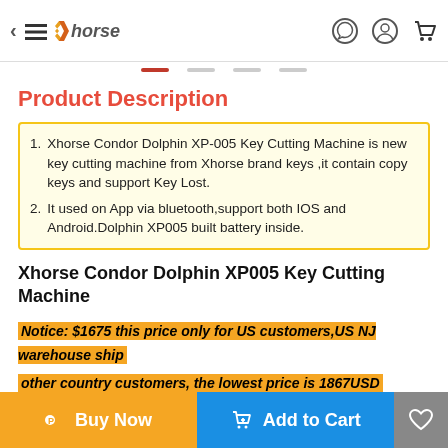[Figure (screenshot): Xhorse brand navigation bar with back arrow, hamburger menu, logo, and icons for WhatsApp, account, and cart]
Product Description
Xhorse Condor Dolphin XP-005 Key Cutting Machine is new key cutting machine from Xhorse brand keys ,it contain copy keys and support Key Lost.
It used on App via bluetooth,support both IOS and Android.Dolphin XP005 built battery inside.
Xhorse Condor Dolphin XP005 Key Cutting Machine
Notice: $1675 this price only for US customers,US NJ warehouse ship
other country customers, the lowest price is 1867USD
UK/EU/US Warehouse Fast Shipping NO TAX